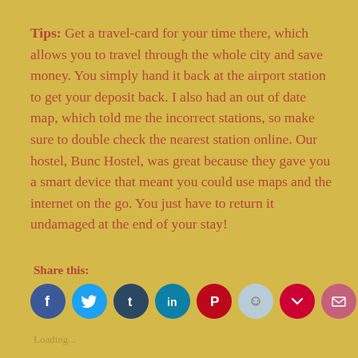Tips: Get a travel-card for your time there, which allows you to travel through the whole city and save money. You simply hand it back at the airport station to get your deposit back. I also had an out of date map, which told me the incorrect stations, so make sure to double check the nearest station online. Our hostel, Bunc Hostel, was great because they gave you a smart device that meant you could use maps and the internet on the go. You just have to return it undamaged at the end of your stay!
Share this:
[Figure (infographic): Row of social media share icons: Facebook (blue), Twitter (light blue), Tumblr (dark navy), LinkedIn (teal), Pinterest (dark red), Reddit (light blue-grey), Pocket (crimson), Email (crimson-pink), Print (light grey)]
Loading...